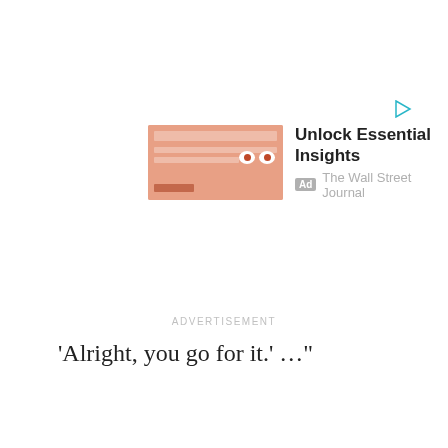[Figure (other): Play/forward triangle icon in teal/cyan color, top right area]
[Figure (other): Advertisement banner: WSJ 'Unlock Essential Insights' ad with salmon/pink colored image thumbnail on left showing eyes graphic, bold headline text and Ad badge with The Wall Street Journal source label]
ADVERTISEMENT
‘Alright, you go for it.’ …”
ADVERTISEMENT
[Figure (other): Light grey advertisement placeholder box]